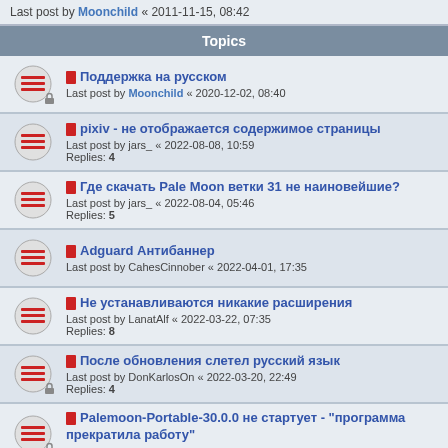Last post by Moonchild « 2011-11-15, 08:42
Topics
Поддержка на русском
Last post by Moonchild « 2020-12-02, 08:40
pixiv - не отображается содержимое страницы
Last post by jars_ « 2022-08-08, 10:59
Replies: 4
Где скачать Pale Moon ветки 31 не наиновейшие?
Last post by jars_ « 2022-08-04, 05:46
Replies: 5
Adguard Антибаннер
Last post by CahesCinnober « 2022-04-01, 17:35
Не устанавливаются никакие расширения
Last post by LanatAlf « 2022-03-22, 07:35
Replies: 8
После обновления слетел русский язык
Last post by DonKarlosOn « 2022-03-20, 22:49
Replies: 4
Palemoon-Portable-30.0.0 не стартует - "программа прекратила работу"
Last post by Alek_Juzhnyj « 2022-03-20, 19:50
ищу дополнение или расширение
Last post by airdrop4ik « 2022-03-14, 14:08
помогите с расширениями